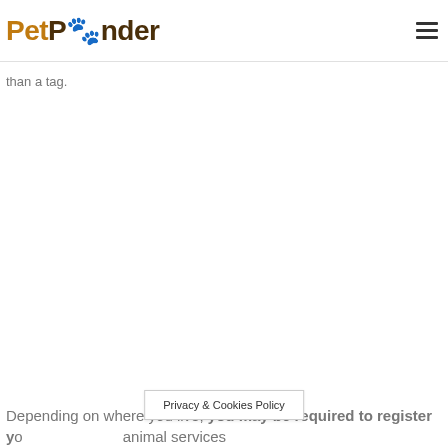PetPonder
than a tag.
Depending on where you live, you may be required to register yo animal services
Privacy & Cookies Policy